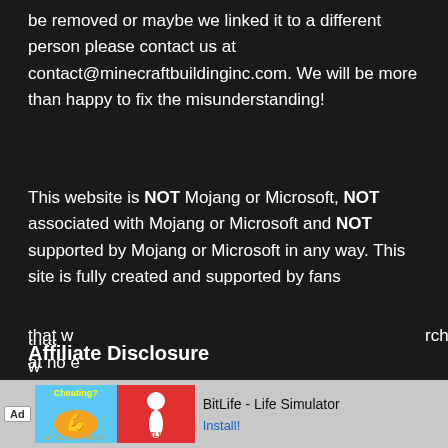be removed or maybe we linked it to a different person please contact us at contact@minecraftbuildinginc.com. We will be more than happy to fix the misunderstanding!
This website is NOT Mojang or Microsoft, NOT associated with Mojang or Microsoft and NOT supported by Mojang or Microsoft in any way. This site is fully created and supported by fans
Affiliate Disclosure
minecraftbuildinginc.com is a participant in the Amazon Services LLC Associates Program, an affiliate advertising program designed for publishers to earn small commissions on referral purchases. Minecraftbuildinginc.com also participates in other similar referral programs. Keep in mind that w... rchase at no e...
[Figure (screenshot): Ad banner at bottom of page: Ad label, Cheating? icon with blue background, BitLife red icon with sperm logo, BitLife - Life Simulator text, Install button]